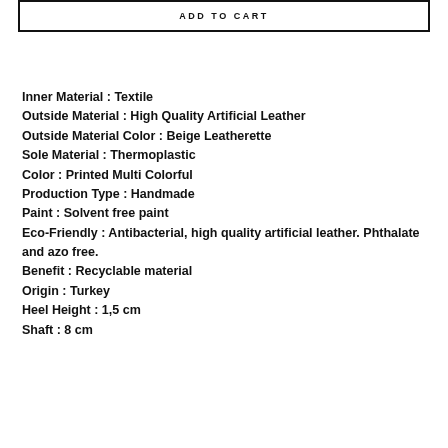ADD TO CART
Inner Material : Textile
Outside Material : High Quality Artificial Leather
Outside Material Color : Beige Leatherette
Sole Material : Thermoplastic
Color : Printed Multi Colorful
Production Type : Handmade
Paint : Solvent free paint
Eco-Friendly : Antibacterial, high quality artificial leather. Phthalate and azo free.
Benefit : Recyclable material
Origin : Turkey
Heel Height : 1,5 cm
Shaft : 8 cm